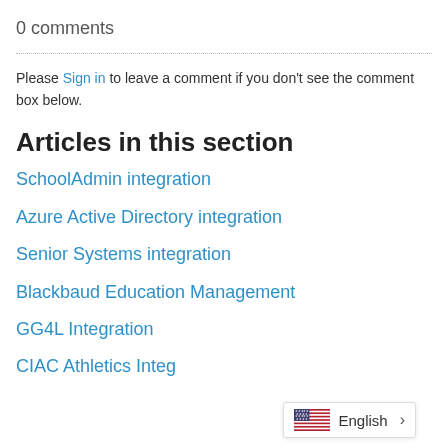0 comments
Please Sign in to leave a comment if you don't see the comment box below.
Articles in this section
SchoolAdmin integration
Azure Active Directory integration
Senior Systems integration
Blackbaud Education Management
GG4L Integration
CIAC Athletics Integ…
English >